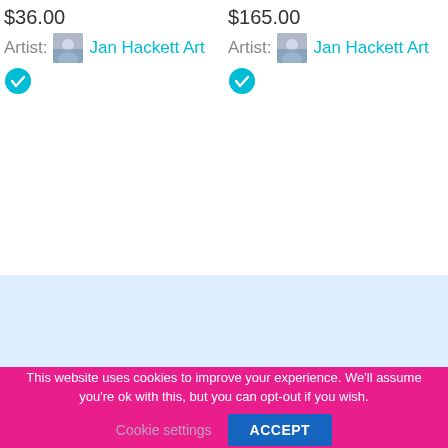$36.00
Artist: Jan Hackett Art
[Figure (other): Cyan verified checkmark badge]
$165.00
Artist: Jan Hackett Art
[Figure (other): Cyan verified checkmark badge]
This website uses cookies to improve your experience. We'll assume you're ok with this, but you can opt-out if you wish.
Cookie settings
ACCEPT